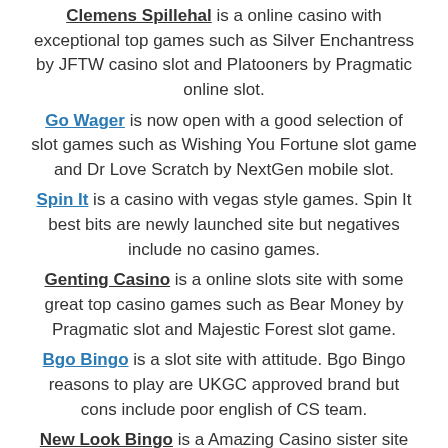Clemens Spillehal is a online casino with exceptional top games such as Silver Enchantress by JFTW casino slot and Platooners by Pragmatic online slot.
Go Wager is now open with a good selection of slot games such as Wishing You Fortune slot game and Dr Love Scratch by NextGen mobile slot.
Spin It is a casino with vegas style games. Spin It best bits are newly launched site but negatives include no casino games.
Genting Casino is a online slots site with some great top casino games such as Bear Money by Pragmatic slot and Majestic Forest slot game.
Bgo Bingo is a slot site with attitude. Bgo Bingo reasons to play are UKGC approved brand but cons include poor english of CS team.
New Look Bingo is a Amazing Casino sister site with some great top games such as Temple of Tut online slot